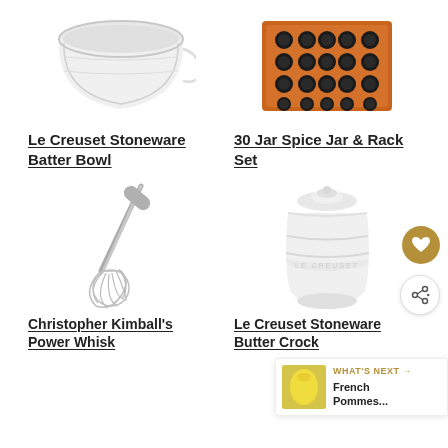[Figure (photo): Le Creuset white stoneware batter bowl mug, partially visible at top]
Le Creuset Stoneware Batter Bowl
[Figure (photo): 30 Jar Spice Jar and Rack Set with wooden orange rack and black lids]
30 Jar Spice Jar & Rack Set
[Figure (photo): Christopher Kimball's Power Whisk, stainless steel whisk]
Christopher Kimball's Power Whisk
[Figure (photo): Le Creuset white stoneware butter crock with lid]
Le Creuset Stoneware Butter Crock
[Figure (infographic): WHAT'S NEXT arrow label with French Pommes... thumbnail and title, with heart and share icons]